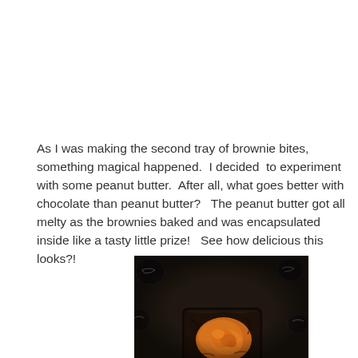As I was making the second tray of brownie bites, something magical happened.  I decided  to experiment with some peanut butter.  After all, what goes better with chocolate than peanut butter?   The peanut butter got all melty as the brownies baked and was encapsulated inside like a tasty little prize!   See how delicious this looks?!
[Figure (photo): Close-up photo of chocolate brownie bites in a dark baking pan, showing the inside of one brownie bite with melted peanut butter visible as an orange-golden center against the dark chocolate brownie]